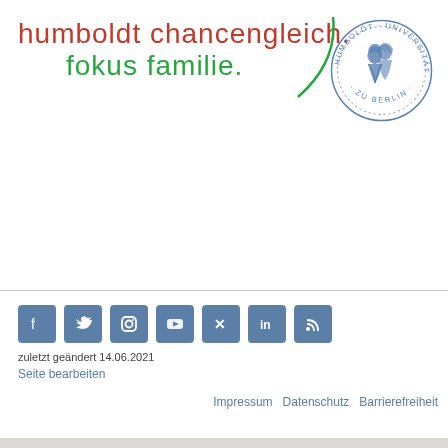humboldt chancengleich. fokus familie.
[Figure (logo): Humboldt-Universität zu Berlin circular seal/logo with portraits of the Humboldt brothers and text around the border]
zuletzt geändert 14.06.2021
Seite bearbeiten
[Figure (infographic): Social media icons: Facebook, Twitter, Instagram, YouTube, Xing, LinkedIn, RSS feed]
Impressum   Datenschutz   Barrierefreiheit